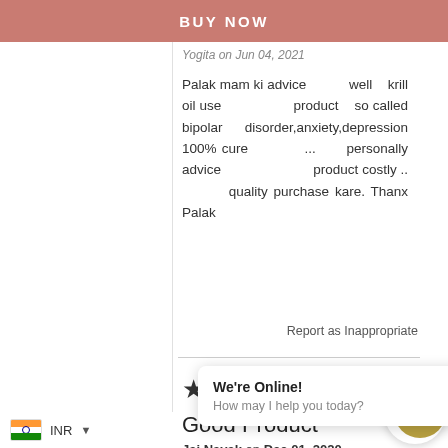BUY NOW
Palak mam ki advice well krill oil use product so called bipolar disorder,anxiety,depression 100% cure ... personally advice product costly .. quality purchase kare. Thanx Palak
Report as Inappropriate
[Figure (other): 4 out of 5 stars rating]
Good Product
Jai Nayak on Dec 01, 2020
Good Prod
We're Online!
How may I help you today?